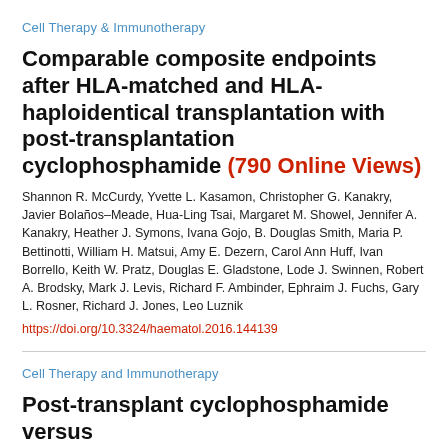Cell Therapy & Immunotherapy
Comparable composite endpoints after HLA-matched and HLA-haploidentical transplantation with post-transplantation cyclophosphamide (790 Online Views)
Shannon R. McCurdy, Yvette L. Kasamon, Christopher G. Kanakry, Javier Bolaños-Meade, Hua-Ling Tsai, Margaret M. Showel, Jennifer A. Kanakry, Heather J. Symons, Ivana Gojo, B. Douglas Smith, Maria P. Bettinotti, William H. Matsui, Amy E. Dezern, Carol Ann Huff, Ivan Borrello, Keith W. Pratz, Douglas E. Gladstone, Lode J. Swinnen, Robert A. Brodsky, Mark J. Levis, Richard F. Ambinder, Ephraim J. Fuchs, Gary L. Rosner, Richard J. Jones, Leo Luznik
https://doi.org/10.3324/haematol.2016.144139
Cell Therapy and Immunotherapy
Post-transplant cyclophosphamide versus